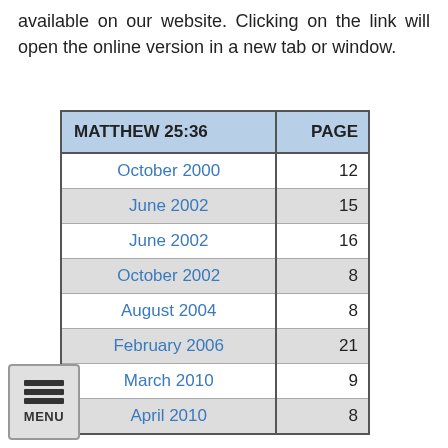available on our website. Clicking on the link will open the online version in a new tab or window.
| MATTHEW 25:36 | PAGE |
| --- | --- |
| October 2000 | 12 |
| June 2002 | 15 |
| June 2002 | 16 |
| October 2002 | 8 |
| August 2004 | 8 |
| February 2006 | 21 |
| March 2010 | 9 |
| April 2010 | 8 |